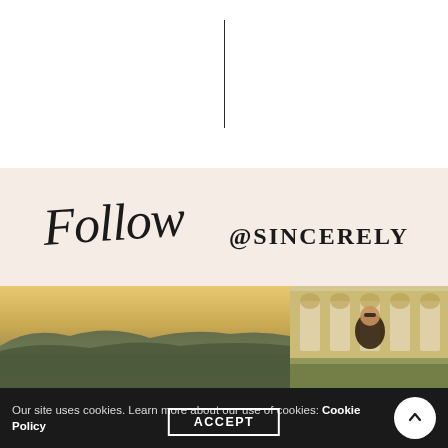[Figure (illustration): Thin vertical black decorative line centered at top of page]
[Figure (illustration): Cursive script 'Follow @SINCERELY JULES' text on warm beige/cream background]
[Figure (photo): Two photos side by side: left is a landscape panoramic view of a city from a hilltop at dusk/sunset; right is a portrait of a woman in sunglasses in front of a classical European building]
Our site uses cookies. Learn more about our use of cookies: Cookie Policy
ACCEPT